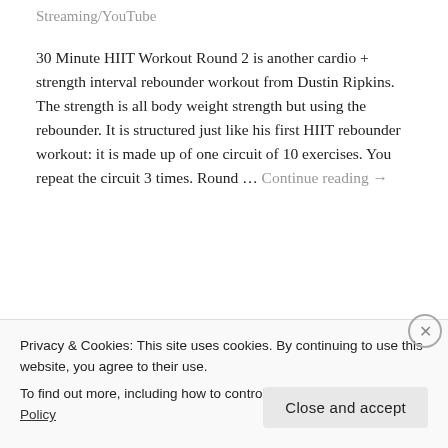Streaming/YouTube
30 Minute HIIT Workout Round 2 is another cardio + strength interval rebounder workout from Dustin Ripkins. The strength is all body weight strength but using the rebounder. It is structured just like his first HIIT rebounder workout: it is made up of one circuit of 10 exercises. You repeat the circuit 3 times. Round … Continue reading →
SHARE THIS:
Privacy & Cookies: This site uses cookies. By continuing to use this website, you agree to their use.
To find out more, including how to control cookies, see here: Cookie Policy